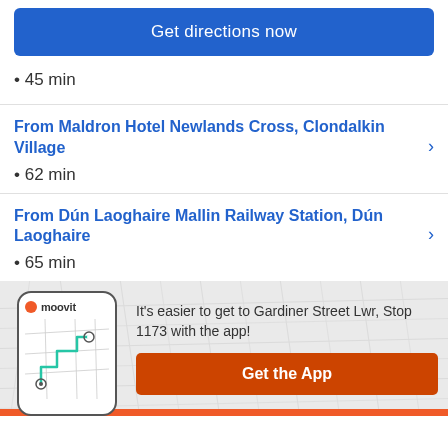Get directions now
• 45 min
From Maldron Hotel Newlands Cross, Clondalkin Village
• 62 min
From Dún Laoghaire Mallin Railway Station, Dún Laoghaire
• 65 min
[Figure (screenshot): Moovit app promotion with phone mockup showing route map, text reading 'It's easier to get to Gardiner Street Lwr, Stop 1173 with the app!' and an orange 'Get the App' button]